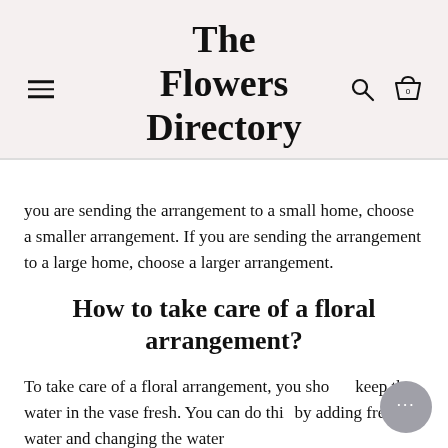The Flowers Directory
you are sending the arrangement to a small home, choose a smaller arrangement. If you are sending the arrangement to a large home, choose a larger arrangement.
How to take care of a floral arrangement?
To take care of a floral arrangement, you should keep the water in the vase fresh. You can do this by adding fresh water and changing the water